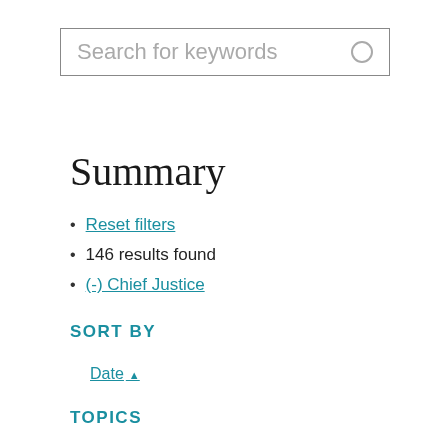[Figure (other): Search input box with placeholder text 'Search for keywords' and a circular search icon on the right]
Summary
Reset filters
146 results found
(-) Chief Justice
SORT BY
Date ▲
TOPICS